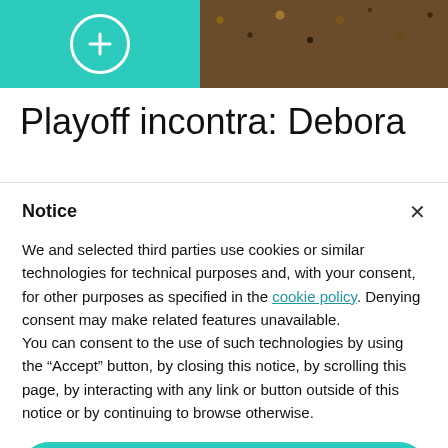[Figure (screenshot): Top banner with teal background on left showing a circular icon with a plus symbol, and a floral/patterned photo on the right.]
Playoff incontra: Debora
Notice
We and selected third parties use cookies or similar technologies for technical purposes and, with your consent, for other purposes as specified in the cookie policy. Denying consent may make related features unavailable.
You can consent to the use of such technologies by using the “Accept” button, by closing this notice, by scrolling this page, by interacting with any link or button outside of this notice or by continuing to browse otherwise.
Accept
Learn more and customize